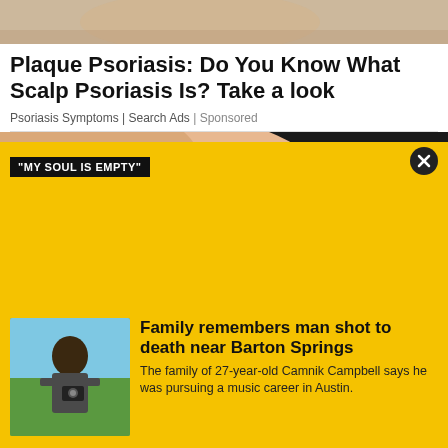[Figure (photo): Close-up photo of a person's face, partially cropped, showing skin tone]
Plaque Psoriasis: Do You Know What Scalp Psoriasis Is? Take a look
Psoriasis Symptoms | Search Ads | Sponsored
[Figure (photo): Close-up photo of a hand holding a red sugary candy ball against a dark background]
"MY SOUL IS EMPTY"
[Figure (photo): Thumbnail photo of a man holding a camera outdoors]
Family remembers man shot to death near Barton Springs
The family of 27-year-old Camnik Campbell says he was pursuing a music career in Austin.